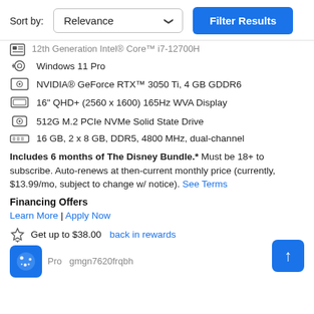Sort by:
Relevance (dropdown) | Filter Results (button)
12th Generation Intel® Core™ i7-12700H
Windows 11 Pro
NVIDIA® GeForce RTX™ 3050 Ti, 4 GB GDDR6
16" QHD+ (2560 x 1600) 165Hz WVA Display
512G M.2 PCIe NVMe Solid State Drive
16 GB, 2 x 8 GB, DDR5, 4800 MHz, dual-channel
Includes 6 months of The Disney Bundle.* Must be 18+ to subscribe. Auto-renews at then-current monthly price (currently, $13.99/mo, subject to change w/ notice). See Terms
Financing Offers
Learn More | Apply Now
Get up to $38.00 back in rewards
Pro gmgn7620frqbh